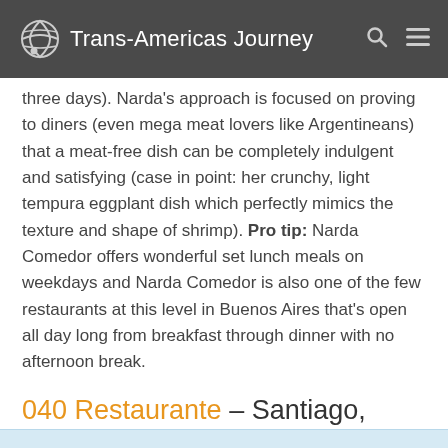Trans-Americas Journey
three days). Narda's approach is focused on proving to diners (even mega meat lovers like Argentineans) that a meat-free dish can be completely indulgent and satisfying (case in point: her crunchy, light tempura eggplant dish which perfectly mimics the texture and shape of shrimp). Pro tip: Narda Comedor offers wonderful set lunch meals on weekdays and Narda Comedor is also one of the few restaurants at this level in Buenos Aires that's open all day long from breakfast through dinner with no afternoon break.
040 Restaurante – Santiago, Chile